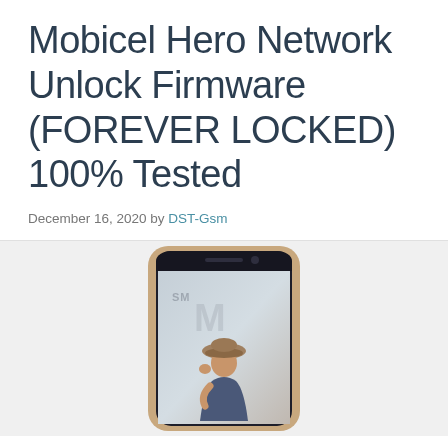Mobicel Hero Network Unlock Firmware (FOREVER LOCKED) 100% Tested
December 16, 2020 by DST-Gsm
[Figure (photo): A Mobicel Hero smartphone with a gold frame, showing a photo of a woman wearing a hat on its screen, displayed against a light gray background.]